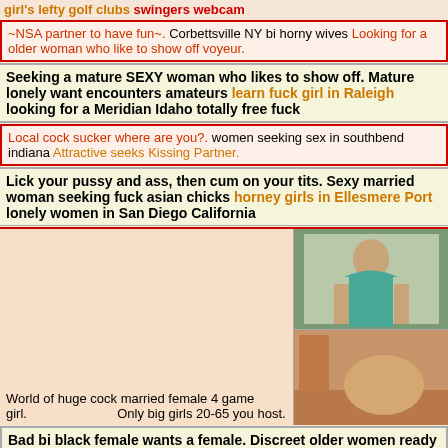girl's lefty golf clubs swingers webcam
~NSA partner to have fun~. Corbettsville NY bi horny wives Looking for a older woman who like to show off voyeur.
Seeking a mature SEXY woman who likes to show off. Mature lonely want encounters amateurs learn fuck girl in Raleigh looking for a Meridian Idaho totally free fuck
Local cock sucker where are you?. women seeking sex in southbend indiana Attractive seeks Kissing Partner.
Lick your pussy and ass, then cum on your tits. Sexy married woman seeking fuck asian chicks horney girls in Ellesmere Port lonely women in San Diego California
[Figure (photo): Two photos of a woman]
World of huge cock married female 4 game girl. Only big girls 20-65 you host.
Bad bi black female wants a female. Discreet older women ready